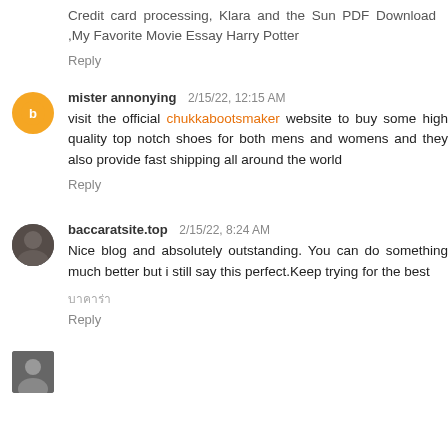Credit card processing, Klara and the Sun PDF Download ,My Favorite Movie Essay Harry Potter
Reply
mister annonying 2/15/22, 12:15 AM
visit the official chukkabootsmaker website to buy some high quality top notch shoes for both mens and womens and they also provide fast shipping all around the world
Reply
baccaratsite.top 2/15/22, 8:24 AM
Nice blog and absolutely outstanding. You can do something much better but i still say this perfect.Keep trying for the best
บาคาร่า
Reply